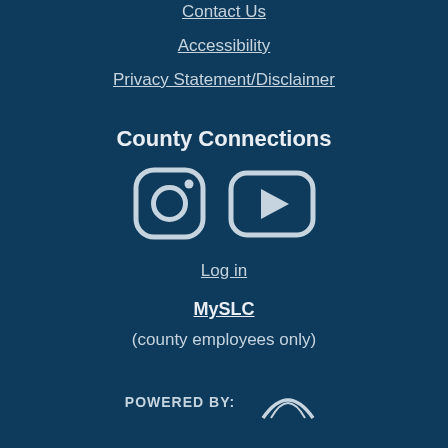Contact Us
Accessibility
Privacy Statement/Disclaimer
County Connections
[Figure (logo): Instagram icon (rounded square with circle and dot, white outline style)]
[Figure (logo): YouTube icon (rounded rectangle with play triangle, white style)]
Log in
MySLC
(county employees only)
POWERED BY:
[Figure (logo): Discover logo partial, white outline]